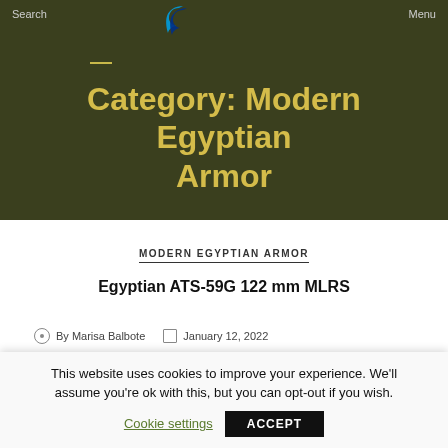Search  Menu
Category: Modern Egyptian Armor
MODERN EGYPTIAN ARMOR
Egyptian ATS-59G 122 mm MLRS
By Marisa Balbote  January 12, 2022
This website uses cookies to improve your experience. We'll assume you're ok with this, but you can opt-out if you wish.
Cookie settings  ACCEPT